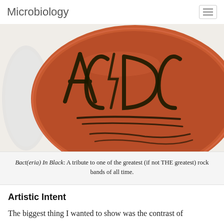Microbiology
[Figure (photo): A petri dish with bacterial cultures grown to spell out 'AC DC' in dark greenish-black growth on a red/brown agar medium. Below the text are streak patterns resembling a lightning bolt or lines.]
Bact(eria) In Black: A tribute to one of the greatest (if not THE greatest) rock bands of all time.
Artistic Intent
The biggest thing I wanted to show was the contrast of